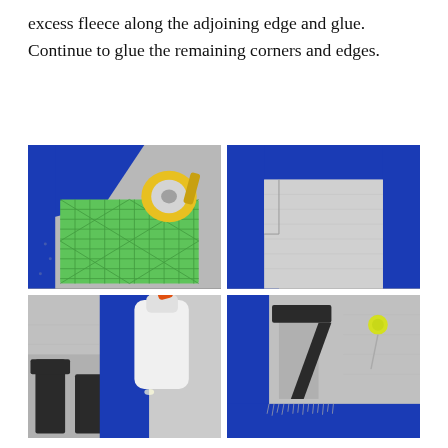excess fleece along the adjoining edge and glue. Continue to glue the remaining corners and edges.
[Figure (photo): Top-left: Blue fleece fabric with a green quilting ruler and yellow rotary cutter on a grey fabric surface.]
[Figure (photo): Top-right: Close-up of blue and grey fleece fabric folded at a corner, showing the border/edge detail.]
[Figure (photo): Bottom-left: Orange-tipped glue bottle applying glue along the edge of grey and blue fleece fabric with dark printed letters.]
[Figure (photo): Bottom-right: Blue and grey fleece fabric border with dark printed letter/number and a yellow pin holding layers together.]